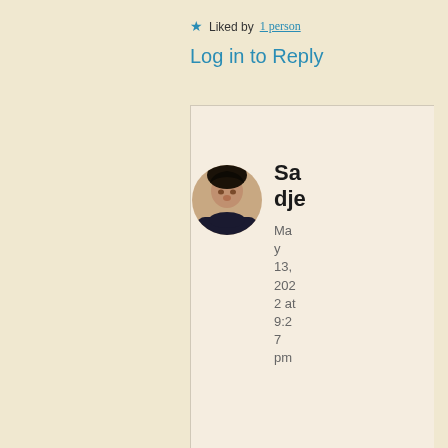★ Liked by 1 person
Log in to Reply
[Figure (photo): Circular profile avatar photo of a person with dark hair wearing a dark jacket]
Sadje
May 13, 2022 at 9:27 pm